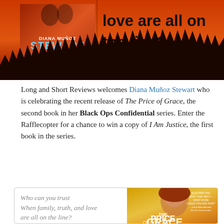[Figure (illustration): Banner image showing a book cover for Diana Muñoz Stewart on the left against an orange/red sunset background with dark silhouetted treeline, and text on the right reading 'love are all on the line?']
Long and Short Reviews welcomes Diana Muñoz Stewart who is celebrating the recent release of The Price of Grace, the second book in her Black Ops Confidential series. Enter the Rafflecopter for a chance to win a copy of I Am Justice, the first book in the series.
Who can you trust When family, truth, and love are all on the line? Gracie Parish knows the true cost of trust. Rescued as a child by the infamous Parish
[Figure (photo): Book cover of 'The Price of Grace' showing a red-haired woman's face on a gold/orange background with the title text]